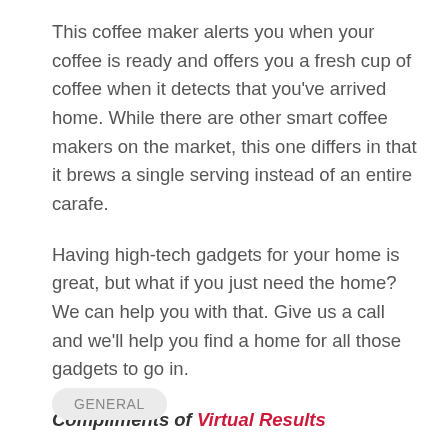This coffee maker alerts you when your coffee is ready and offers you a fresh cup of coffee when it detects that you've arrived home. While there are other smart coffee makers on the market, this one differs in that it brews a single serving instead of an entire carafe.
Having high-tech gadgets for your home is great, but what if you just need the home? We can help you with that. Give us a call and we'll help you find a home for all those gadgets to go in.
Compliments of Virtual Results
GENERAL